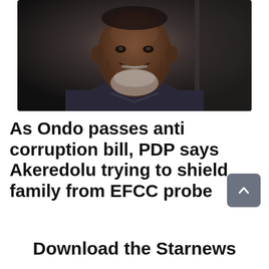[Figure (photo): Portrait photo of a smiling dark-skinned man with a short white/grey beard, wearing a dark navy/black traditional attire, photographed from the chest up against a dark background]
As Ondo passes anti corruption bill, PDP says Akeredolu trying to shield family from EFCC probe
Download the Starnews